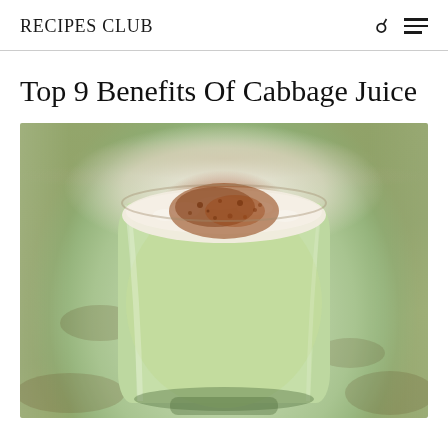RECIPES CLUB
Top 9 Benefits Of Cabbage Juice
[Figure (photo): A glass of pale green cabbage juice with a frothy white foam top dusted with reddish-brown cinnamon spice, sitting on a granite countertop surface.]